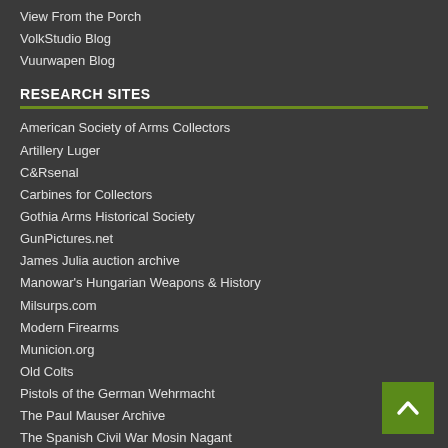View From the Porch
VolkStudio Blog
Vuurwapen Blog
RESEARCH SITES
American Society of Arms Collectors
Artillery Luger
C&Rsenal
Carbines for Collectors
Gothia Arms Historical Society
GunPictures.net
James Julia auction archive
Manowar's Hungarian Weapons & History
Milsurps.com
Modern Firearms
Municion.org
Old Colts
Pistols of the German Wehrmacht
The Paul Mauser Archive
The Spanish Civil War Mosin Nagant
Unblinking Eye